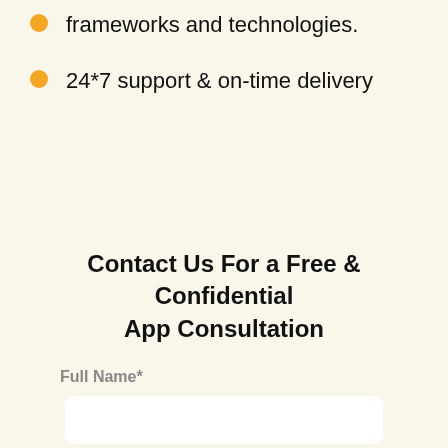...the latest development frameworks and technologies.
24*7 support & on-time delivery
Contact Us For a Free & Confidential App Consultation
Full Name*